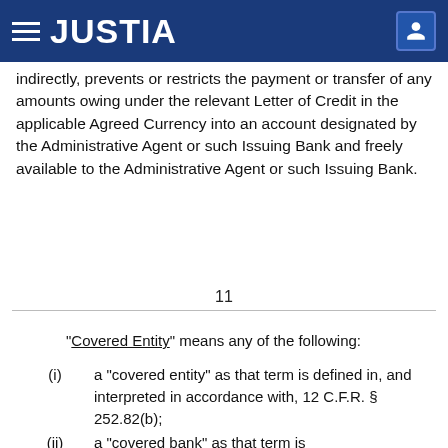JUSTIA
indirectly, prevents or restricts the payment or transfer of any amounts owing under the relevant Letter of Credit in the applicable Agreed Currency into an account designated by the Administrative Agent or such Issuing Bank and freely available to the Administrative Agent or such Issuing Bank.
11
“Covered Entity” means any of the following:
(i)   a “covered entity” as that term is defined in, and interpreted in accordance with, 12 C.F.R. § 252.82(b);
(ii)   a “covered bank” as that term is